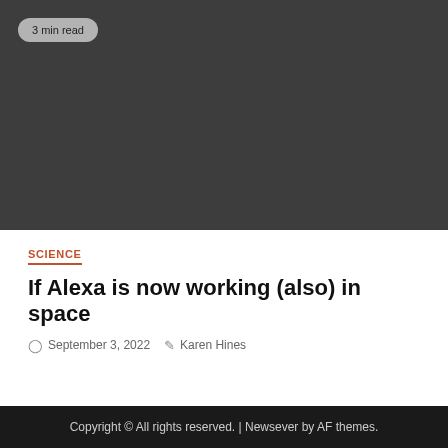[Figure (photo): Dark gray hero image placeholder with a '3 min read' badge in the top-left corner]
SCIENCE
If Alexa is now working (also) in space
September 3, 2022  Karen Hines
Copyright © All rights reserved. | Newsever by AF themes.